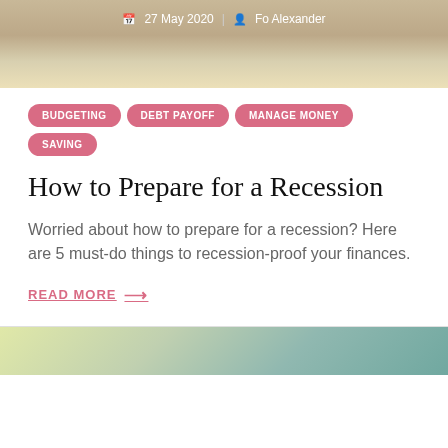[Figure (photo): Top portion of a blog post featuring a person in a tan/beige coat with curly hair, with date '27 May 2020' and author 'Fo Alexander' shown as metadata overlay]
BUDGETING  DEBT PAYOFF  MANAGE MONEY  SAVING
How to Prepare for a Recession
Worried about how to prepare for a recession? Here are 5 must-do things to recession-proof your finances.
READ MORE →
[Figure (photo): Bottom partial image showing what appears to be a building interior with structural elements, tinted yellow-green and teal]